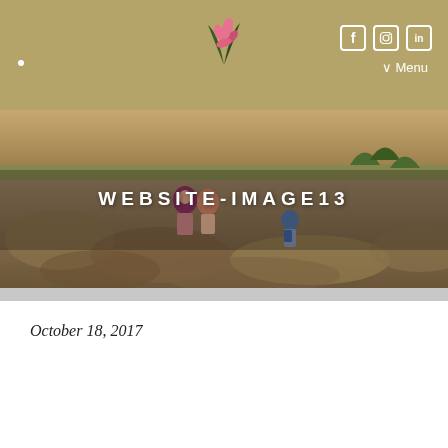[Figure (illustration): Botanical logo with pink flower and green leaves on gold/khaki header bar with social media icons (Facebook, Instagram, LinkedIn) and Menu link]
[Figure (photo): Hero image of people hiking on rocky terrain with trees in background, overlaid with white bold uppercase text WEBSITE-IMAGE13]
WEBSITE-IMAGE13
October 18, 2017